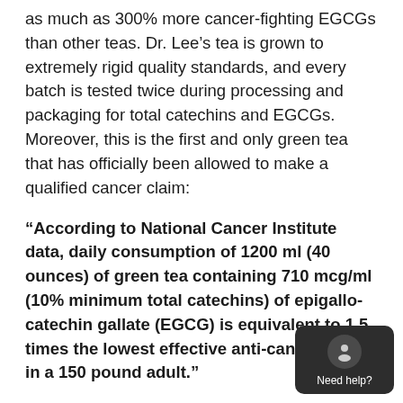as much as 300% more cancer-fighting EGCGs than other teas. Dr. Lee's tea is grown to extremely rigid quality standards, and every batch is tested twice during processing and packaging for total catechins and EGCGs. Moreover, this is the first and only green tea that has officially been allowed to make a qualified cancer claim:
“According to National Cancer Institute data, daily consumption of 1200 ml (40 ounces) of green tea containing 710 mcg/ml (10% minimum total catechins) of epigallo-catechin gallate (EGCG) is equivalent to 1.5 times the lowest effective anti-cancer dose in a 150 pound adult.”
When I learned last year that Dr. Lee, under pressure from the FDA to choose between his green tea business and his other research pursuits, reluctantly decided to give up the tea, I was extremely